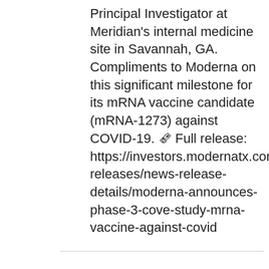Principal Investigator at Meridian's internal medicine site in Savannah, GA. Compliments to Moderna on this significant milestone for its mRNA vaccine candidate (mRNA-1273) against COVID-19. 🗞 Full release: https://investors.modernatx.com/news-releases/news-release-details/moderna-announces-phase-3-cove-study-mrna-vaccine-against-covid